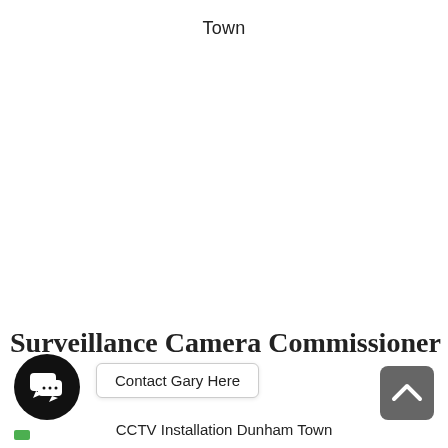Town
Surveillance Camera Commissioner
[Figure (other): Chat bubble widget button (circular black button with speech bubble icon with ellipsis)]
Contact Gary Here
[Figure (other): Scroll-to-top button (dark grey rounded square with upward chevron arrow)]
CCTV Installation Dunham Town